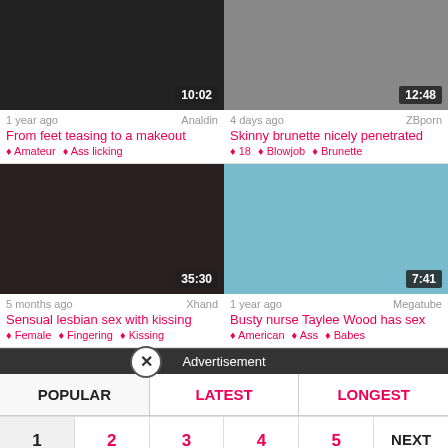[Figure (screenshot): Video thumbnail top-left, dark/blurred, duration 10:02]
[Figure (screenshot): Video thumbnail top-right, duration 12:48]
1 year ago   Analdin
From feet teasing to a makeout
Amateur  Ass licking
4 days ago   ZBporn
Skinny brunette nicely penetrated
18  Blowjob  Brunette
[Figure (screenshot): Video thumbnail bottom-left dark, woman, duration 35:30]
[Figure (screenshot): Video thumbnail bottom-right, nurse scene, duration 7:41]
5 months ago   Xhand
Sensual lesbian sex with kissing
Female  Fingering  Kissing
1 year ago   Megatube
Busty nurse Taylee Wood has sex
American  Ass  Babes
Advertisement
POPULAR   LATEST   LONGEST
1  2  3  4  5  NEXT